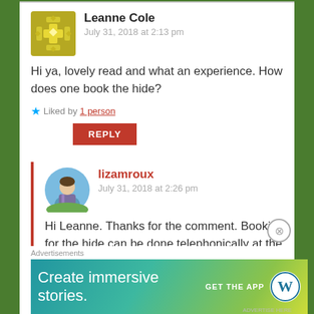Leanne Cole
July 31, 2018 at 2:13 pm
Hi ya, lovely read and what an experience. How does one book the hide?
Liked by 1 person
REPLY
lizamroux
July 31, 2018 at 2:26 pm
Hi Leanne. Thanks for the comment. Bookings for the hide can be done telephonically at the
Advertisements
Create immersive stories.
GET THE APP